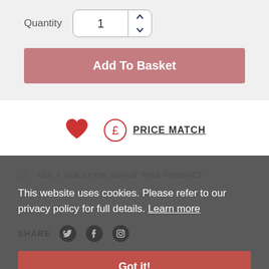Quantity
1
Add To Basket
[Figure (illustration): Red heart icon (wishlist/favourite button)]
PRICE MATCH
ASK A QUESTION ABOUT THIS PRODUCT
This website uses cookies. Please refer to our privacy policy for full details. Learn more
SHARE
Got it!